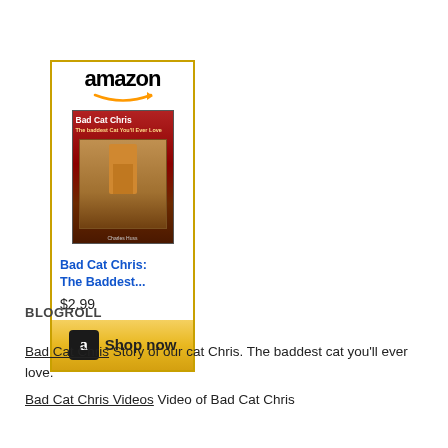[Figure (other): Amazon advertisement widget showing book 'Bad Cat Chris: The Baddest...' priced at $2.99 with a Shop now button]
BLOGROLL
Bad Cat Chris Story of our cat Chris. The baddest cat you'll ever love.
Bad Cat Chris Videos Video of Bad Cat Chris